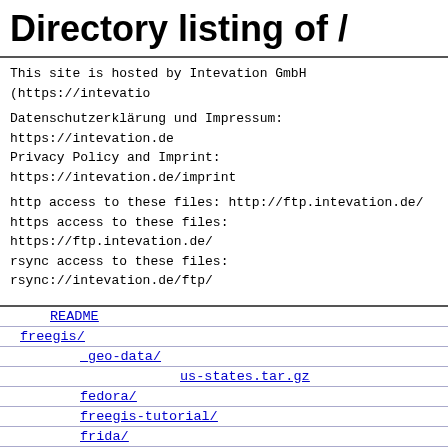Directory listing of /
This site is hosted by Intevation GmbH (https://intevatio
Datenschutzerklärung und Impressum: https://intevation.de
Privacy Policy and Imprint: https://intevation.de/imprint

http access to these files: http://ftp.intevation.de/
https access to these files: https://ftp.intevation.de/
rsync access to these files: rsync://intevation.de/ftp/
README
freegis/
_geo-data/
us-states.tar.gz
fedora/
freegis-tutorial/
frida/
fvgd-os/
gnu-linux-i586/
gnu-linux-ppc/
misc/
readme.txt